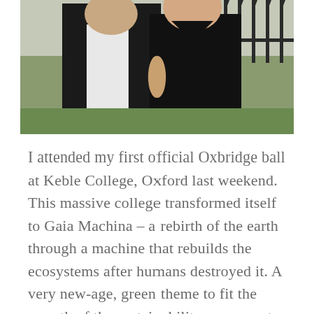[Figure (photo): A man in a black tuxedo and a woman in a black dress standing in front of iron railings, likely at an Oxbridge college ball.]
I attended my first official Oxbridge ball at Keble College, Oxford last weekend. This massive college transformed itself to Gaia Machina – a rebirth of the earth through a machine that rebuilds the ecosystems after humans destroyed it. A very new-age, green theme to fit the growth of the sustainability movement. It was very edgy